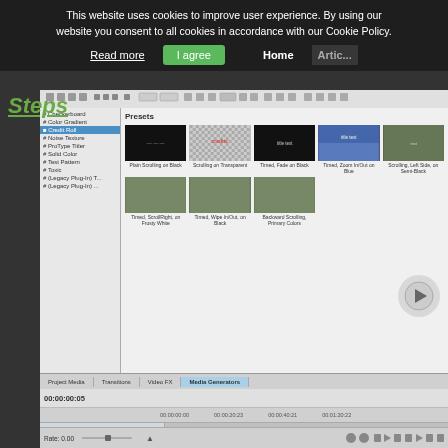This website uses cookies to improve user experience. By using our website you consent to all cookies in accordance with our Cookie Policy.
Read more | I agree | Home | Articles
Steps
[Figure (screenshot): Screenshot of a video editing software (likely Sony Vegas or similar) showing the Media Generators panel with Presets including various credit roll and scrolling text options. The timeline is visible at the bottom with video tracks. A play button is visible on the right side.]